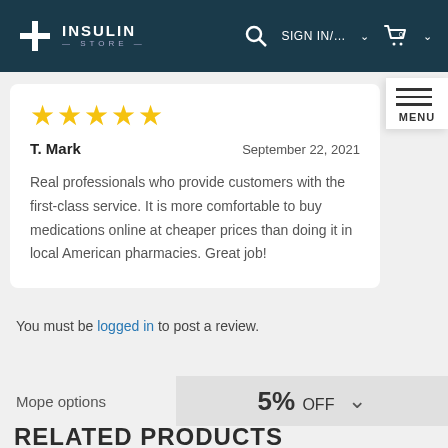INSULIN STORE
★★★★★
T. Mark — September 22, 2021
Real professionals who provide customers with the first-class service. It is more comfortable to buy medications online at cheaper prices than doing it in local American pharmacies. Great job!
You must be logged in to post a review.
Mope options   5% OFF
RELATED PRODUCTS